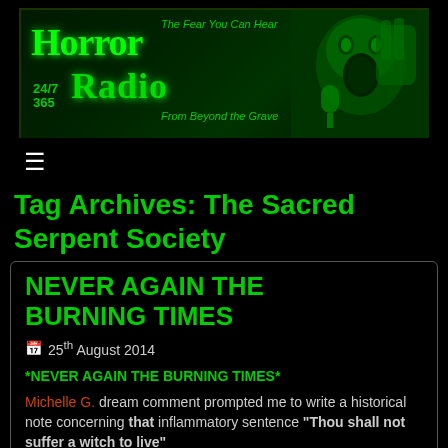[Figure (illustration): Horror Radio banner with green glowing text reading 'Horror Radio', '24/7 365', taglines 'The Fear You Can Hear' and 'From Beyond the Grave', with a green-tinted screaming face on the right]
≡
Tag Archives: The Sacred Serpent Society
NEVER AGAIN THE BURNING TIMES
📅 25th August 2014
*NEVER AGAIN THE BURNING TIMES*
Michelle G. dream comment prompted me to write a historical note concerning that inflammatory sentence "Thou shall not suffer a witch to live"